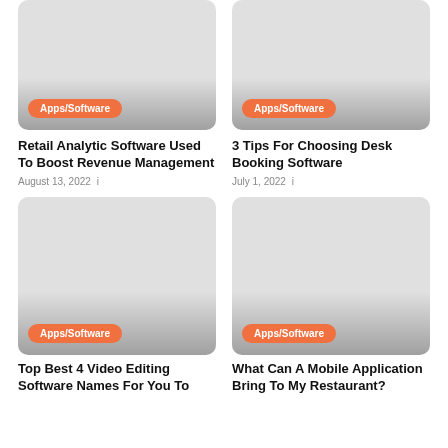[Figure (photo): Card image with Apps/Software badge for Retail Analytic Software article]
Retail Analytic Software Used To Boost Revenue Management
August 13, 2022
[Figure (photo): Card image with Apps/Software badge for 3 Tips For Choosing Desk Booking Software article]
3 Tips For Choosing Desk Booking Software
July 1, 2022
[Figure (photo): Card image with Apps/Software badge for Top Best 4 Video Editing Software article]
Top Best 4 Video Editing Software Names For You To
[Figure (photo): Card image with Apps/Software badge for What Can A Mobile Application Bring To My Restaurant article]
What Can A Mobile Application Bring To My Restaurant?